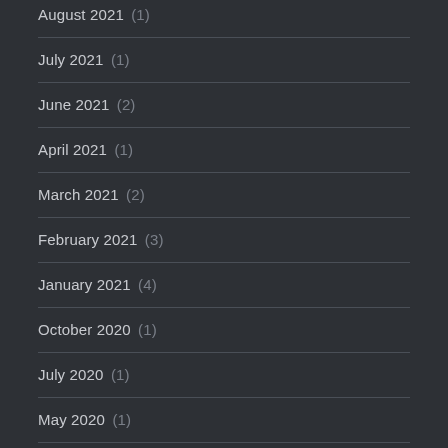August 2021 (1)
July 2021 (1)
June 2021 (2)
April 2021 (1)
March 2021 (2)
February 2021 (3)
January 2021 (4)
October 2020 (1)
July 2020 (1)
May 2020 (1)
March 2020 (4)
February 2020 (2)